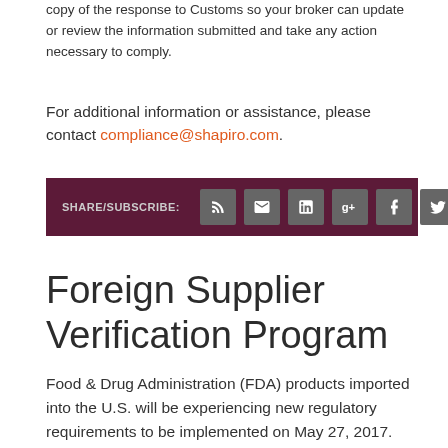copy of the response to Customs so your broker can update or review the information submitted and take any action necessary to comply.
For additional information or assistance, please contact compliance@shapiro.com.
[Figure (infographic): Dark maroon SHARE/SUBSCRIBE bar with social media icons: RSS feed, email/envelope, LinkedIn, Google+, Facebook, Twitter]
Foreign Supplier Verification Program
Food & Drug Administration (FDA) products imported into the U.S. will be experiencing new regulatory requirements to be implemented on May 27, 2017. The Food Supplier Verification Program (FSVP) rule is intended to be a flexible, risk-based program to verify that foreign suppliers are producing their food in compliance with processes that meet the FDA's